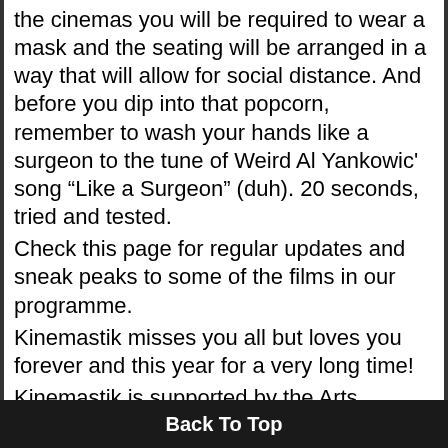the cinemas you will be required to wear a mask and the seating will be arranged in a way that will allow for social distance. And before you dip into that popcorn, remember to wash your hands like a surgeon to the tune of Weird Al Yankowic' song "Like a Surgeon" (duh). 20 seconds, tried and tested.
Check this page for regular updates and sneak peaks to some of the films in our programme.
Kinemastik misses you all but loves you forever and this year for a very long time!
Kinemastik is supported by the Arts
Back To Top